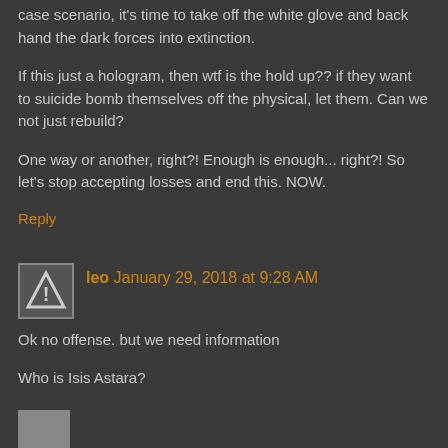case scenario, it's time to take off the white glove and back hand the dark forces into extinction.
If this just a hologram, then wtf is the hold up?? if they want to suicide bomb themselves off the physical, let them. Can we not just rebuild?
One way or another, right?! Enough is enough... right?! So let's stop accepting losses and end this. NOW.
Reply
leo  January 29, 2018 at 9:28 AM
Ok no offense. but we need information
Who is Isis Astara?
and why did she die and how?
Reply